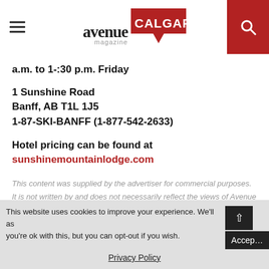avenue magazine CALGARY
a.m. to 1-:30 p.m. Friday
1 Sunshine Road
Banff, AB T1L 1J5
1-87-SKI-BANFF (1-877-542-2633)
Hotel pricing can be found at sunshinemountainlodge.com
This content was supplied by the advertiser for commercial purposes. It is not written by and does not necessarily reflect the views of Avenue staff.
This website uses cookies to improve your experience. We'll as you're ok with this, but you can opt-out if you wish. Accept Privacy Policy